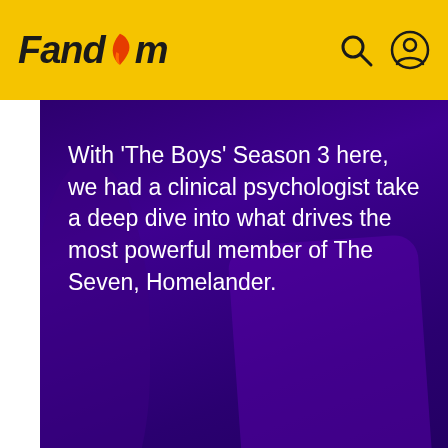Fandom
[Figure (illustration): Purple-toned article card image with text overlay: 'With The Boys Season 3 here, we had a clinical psychologist take a deep dive into what drives the most powerful member of The Seven, Homelander.']
Drea Letamendi  May 31
[Figure (illustration): Yellow-green toned Games article card with a fantasy creature silhouette and GAMES label]